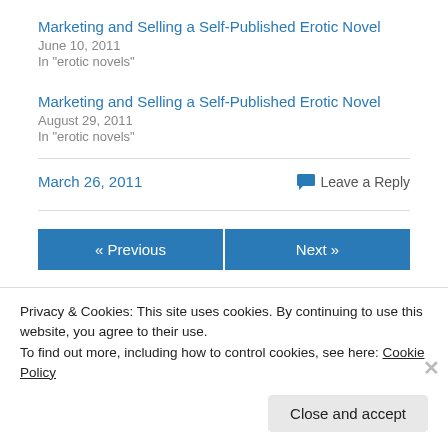Marketing and Selling a Self-Published Erotic Novel
June 10, 2011
In "erotic novels"
Marketing and Selling a Self-Published Erotic Novel
August 29, 2011
In "erotic novels"
March 26, 2011   Leave a Reply
« Previous   Next »
Privacy & Cookies: This site uses cookies. By continuing to use this website, you agree to their use.
To find out more, including how to control cookies, see here: Cookie Policy
Close and accept